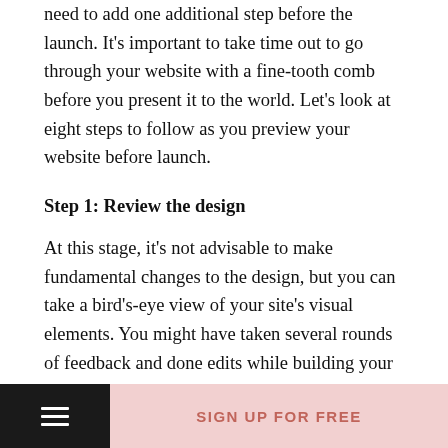need to add one additional step before the launch. It's important to take time out to go through your website with a fine-tooth comb before you present it to the world. Let's look at eight steps to follow as you preview your website before launch.
Step 1: Review the design
At this stage, it's not advisable to make fundamental changes to the design, but you can take a bird's-eye view of your site's visual elements. You might have taken several rounds of feedback and done edits while building your website, but one can still miss important things in the process. These fine details impact the experience of your visitors.
SIGN UP FOR FREE